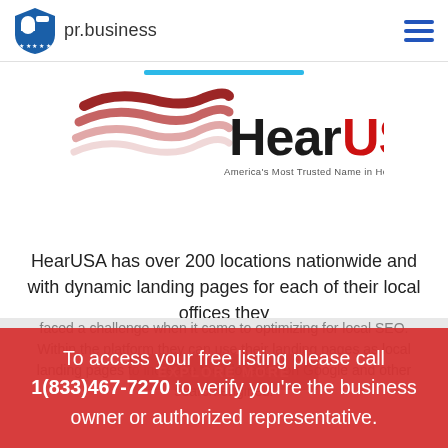pr.business
[Figure (logo): HearUSA logo with wave graphic and tagline 'America's Most Trusted Name in Hearing Care.']
HearUSA has over 200 locations nationwide and with dynamic landing pages for each of their local offices they faced a challenge when it came to optimizing for local SEO. Within the platform they can use their landing pages as local landing pages to increase their location on Google and other search engines.
To access your free listing please call 1(833)467-7270 to verify you're the business owner or authorized representative.